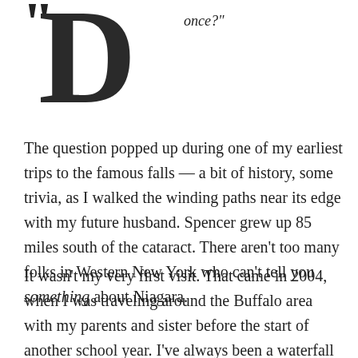“D... once?” The question popped up during one of my earliest trips to the famous falls — a bit of history, some trivia, as I walked the winding paths near its edge with my future husband. Spencer grew up 85 miles south of the cataract. There aren’t too many folks in Western New York who can’t tell you something about Niagara.
It wasn’t my very first visit. That came in 2004, when I was traveling around the Buffalo area with my parents and sister before the start of another school year. I’ve always been a waterfall fan — a waterfall nut, you might say. And my first glimpse of the Horseshoe Falls, from the landscaped paths on the Canadian side, certainly